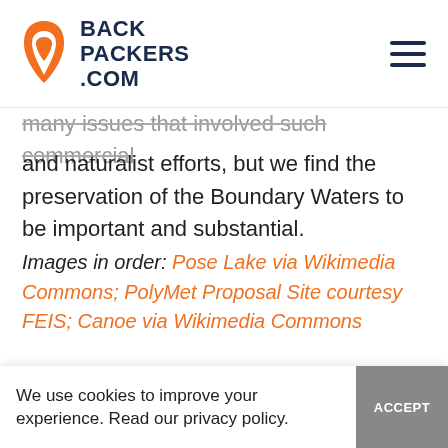BACKPACKERS.COM
many issues that involved such commercial and naturalist efforts, but we find the preservation of the Boundary Waters to be important and substantial.
Images in order: Pose Lake via Wikimedia Commons; PolyMet Proposal Site courtesy FEIS; Canoe via Wikimedia Commons
Editor
We use cookies to improve your experience. Read our privacy policy.